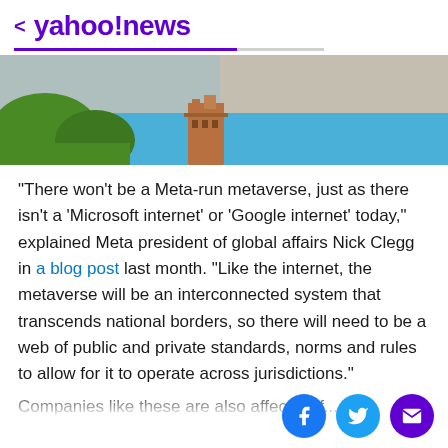< yahoo!news
[Figure (photo): Outdoor photo showing green trees and a brick tower against a blue sky, partially cropped]
"There won't be a Meta-run metaverse, just as there isn't a 'Microsoft internet' or 'Google internet' today," explained Meta president of global affairs Nick Clegg in a blog post last month. "Like the internet, the metaverse will be an interconnected system that transcends national borders, so there will need to be a web of public and private standards, norms and rules to allow for it to operate across jurisdictions."
Companies like these are also affected if...